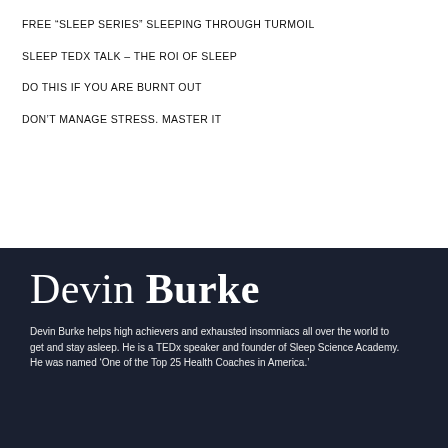FREE “SLEEP SERIES” SLEEPING THROUGH TURMOIL
SLEEP TEDX TALK – THE ROI OF SLEEP
DO THIS IF YOU ARE BURNT OUT
DON’T MANAGE STRESS. MASTER IT
Devin Burke
Devin Burke helps high achievers and exhausted insomniacs all over the world to get and stay asleep. He is a TEDx speaker and founder of Sleep Science Academy. He was named ‘One of the Top 25 Health Coaches in America.’